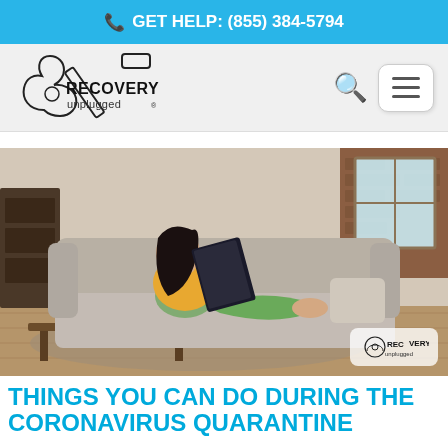📞 GET HELP: (855) 384-5794
[Figure (logo): Recovery Unplugged logo with guitar silhouette]
[Figure (photo): Young woman with long dark hair wearing yellow sweater and green pants lying on a grey sofa reading a book, modern living room with hardwood floors and brick wall in background. Recovery Unplugged watermark in bottom right corner.]
THINGS YOU CAN DO DURING THE CORONAVIRUS QUARANTINE